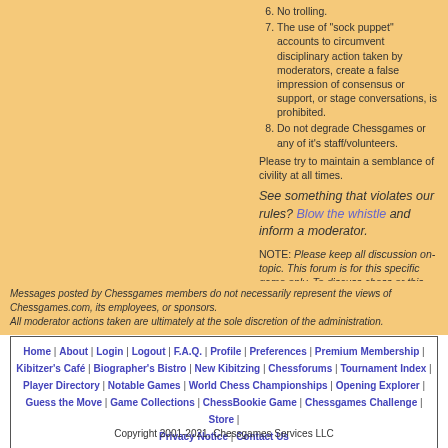6. No trolling.
7. The use of "sock puppet" accounts to circumvent disciplinary action taken by moderators, create a false impression of consensus or support, or stage conversations, is prohibited.
8. Do not degrade Chessgames or any of it's staff/volunteers.
Please try to maintain a semblance of civility at all times.
See something that violates our rules? Blow the whistle and inform a moderator.
NOTE: Please keep all discussion on-topic. This forum is for this specific game only. To discuss chess or this site in general, visit the Kibitzer's Café.
Messages posted by Chessgames members do not necessarily represent the views of Chessgames.com, its employees, or sponsors.
All moderator actions taken are ultimately at the sole discretion of the administration.
Home | About | Login | Logout | F.A.Q. | Profile | Preferences | Premium Membership | Kibitzer's Café | Biographer's Bistro | New Kibitzing | Chessforums | Tournament Index | Player Directory | Notable Games | World Chess Championships | Opening Explorer | Guess the Move | Game Collections | ChessBookie Game | Chessgames Challenge | Store | Privacy Notice | Contact Us
Copyright 2001-2021, Chessgames Services LLC